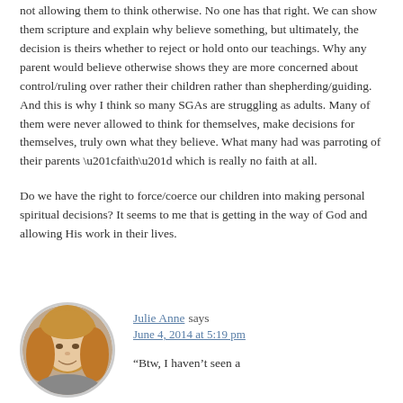not allowing them to think otherwise. No one has that right. We can show them scripture and explain why believe something, but ultimately, the decision is theirs whether to reject or hold onto our teachings. Why any parent would believe otherwise shows they are more concerned about control/ruling over rather their children rather than shepherding/guiding. And this is why I think so many SGAs are struggling as adults. Many of them were never allowed to think for themselves, make decisions for themselves, truly own what they believe. What many had was parroting of their parents “faith” which is really no faith at all.
Do we have the right to force/coerce our children into making personal spiritual decisions? It seems to me that is getting in the way of God and allowing His work in their lives.
[Figure (photo): Circular avatar photo of Julie Anne, a woman with blonde hair, smiling, in front of a stone background.]
Julie Anne says
June 4, 2014 at 5:19 pm

“Btw, I haven’t seen a